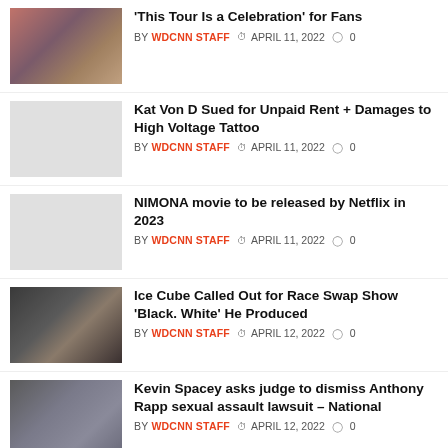'This Tour Is a Celebration' for Fans — BY WDCNN STAFF  APRIL 11, 2022  0
Kat Von D Sued for Unpaid Rent + Damages to High Voltage Tattoo — BY WDCNN STAFF  APRIL 11, 2022  0
NIMONA movie to be released by Netflix in 2023 — BY WDCNN STAFF  APRIL 11, 2022  0
Ice Cube Called Out for Race Swap Show 'Black. White' He Produced — BY WDCNN STAFF  APRIL 12, 2022  0
Kevin Spacey asks judge to dismiss Anthony Rapp sexual assault lawsuit – National — BY WDCNN STAFF  APRIL 12, 2022  0
‹  1  ...  2,653  2,654  2,655  ...  3,743